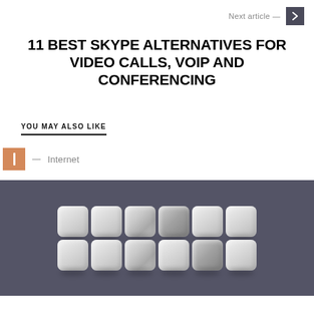Next article →
11 BEST SKYPE ALTERNATIVES FOR VIDEO CALLS, VOIP AND CONFERENCING
YOU MAY ALSO LIKE
— Internet
[Figure (illustration): Grid of 3D-style rounded white/grey squares arranged in 2 rows of 6, shown on a dark grey background with reflections beneath them.]